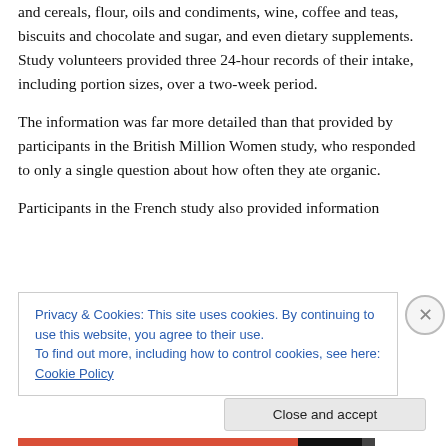and cereals, flour, oils and condiments, wine, coffee and teas, biscuits and chocolate and sugar, and even dietary supplements. Study volunteers provided three 24-hour records of their intake, including portion sizes, over a two-week period.
The information was far more detailed than that provided by participants in the British Million Women study, who responded to only a single question about how often they ate organic.
Participants in the French study also provided information
Privacy & Cookies: This site uses cookies. By continuing to use this website, you agree to their use.
To find out more, including how to control cookies, see here: Cookie Policy